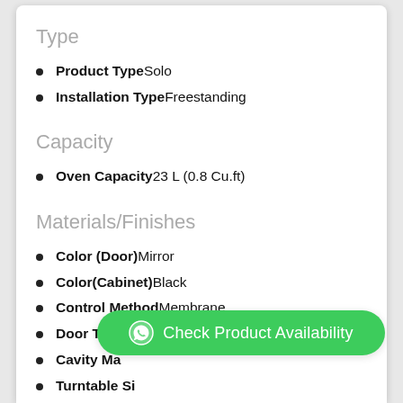Type
Product TypeSolo
Installation TypeFreestanding
Capacity
Oven Capacity23 L (0.8 Cu.ft)
Materials/Finishes
Color (Door)Mirror
Color(Cabinet)Black
Control MethodMembrane
Door TypePush Button
Cavity Ma[terial - partially obscured]
Turntable Si[ze - partially obscured] mm
Display TypeLED (Yellow Green)